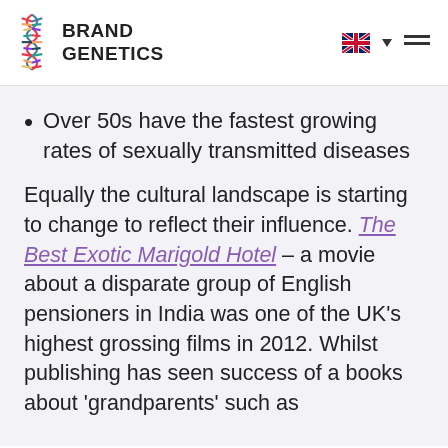BRAND GENETICS
Over 50s have the fastest growing rates of sexually transmitted diseases
Equally the cultural landscape is starting to change to reflect their influence. The Best Exotic Marigold Hotel – a movie about a disparate group of English pensioners in India was one of the UK's highest grossing films in 2012. Whilst publishing has seen success of a books about 'grandparents' such as